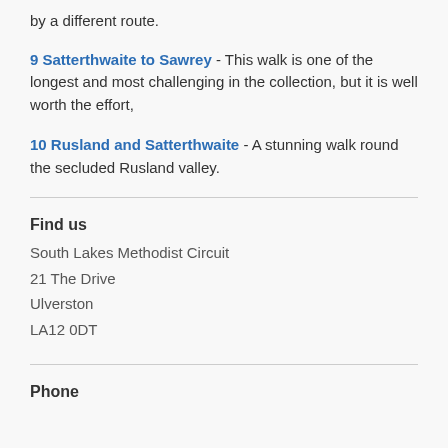by a different route.
9 Satterthwaite to Sawrey - This walk is one of the longest and most challenging in the collection, but it is well worth the effort,
10 Rusland and Satterthwaite - A stunning walk round the secluded Rusland valley.
Find us
South Lakes Methodist Circuit
21 The Drive
Ulverston
LA12 0DT
Phone